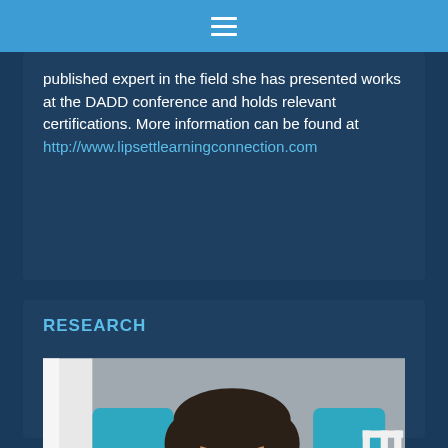≡
published expert in the field she has presented works at the DADD conference and holds relevant certifications. More information can be found at http://www.lipsettlearningconnection.com
RESEARCH
[Figure (photo): A young smiling boy with dark hair wearing a yellow shirt, seated in a blue cushioned chair or support device, photographed indoors with white trim and gray wall visible in background.]